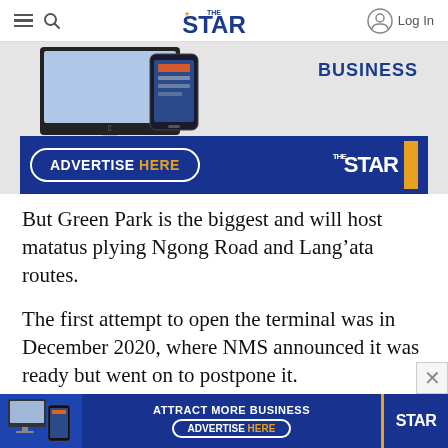THE STAR — Log In
[Figure (infographic): The Star newspaper advertisement banner showing iMac computer and mobile device with BUSINESS label, and ADVERTISE HERE button with THE STAR logo]
But Green Park is the biggest and will host matatus plying Ngong Road and Lang’ata routes.
The first attempt to open the terminal was in December 2020, where NMS announced it was ready but went on to postpone it.
[Figure (infographic): Bottom advertisement banner: ATTRACT MORE BUSINESS — ADVERTISE HERE — STAR logo with orange stripe]